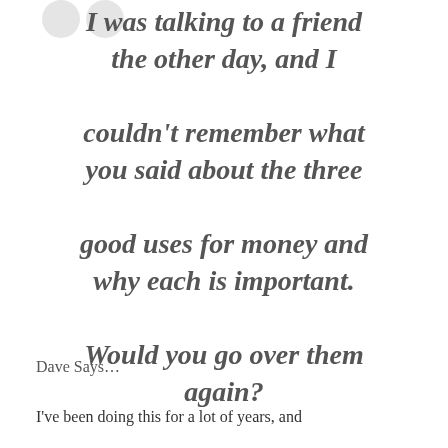I was talking to a friend the other day, and I couldn't remember what you said about the three good uses for money and why each is important. Would you go over them again?
Dave Says...
I've been doing this for a lot of years, and